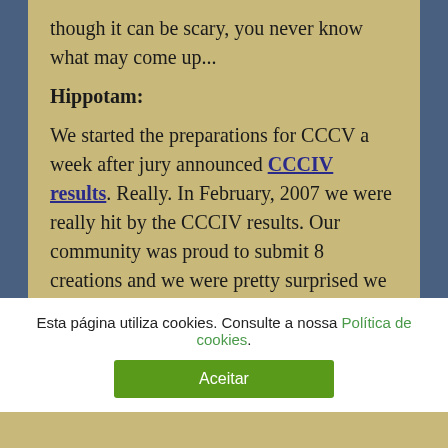though it can be scary, you never know what may come up...
Hippotam:
We started the preparations for CCCV a week after jury announced CCCIV results. Really. In February, 2007 we were really hit by the CCCIV results. Our community was proud to submit 8 creations and we were pretty surprised we did win only one category (Lomero's Sampan). From the year's perspective I must say we were quite silly, but
Esta página utiliza cookies. Consulte a nossa Política de cookies.
Aceitar